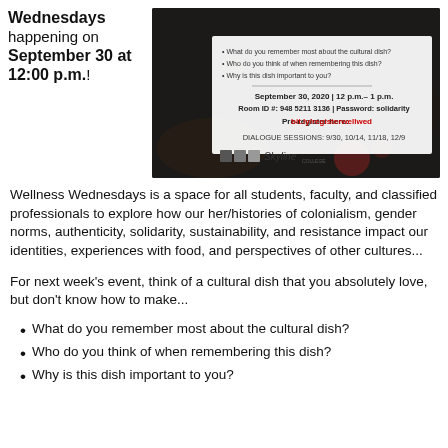Wednesdays happening on September 30 at 12:00 p.m.!
[Figure (infographic): Event flyer image for Wellness Wednesdays at Skyline College showing details: September 30, 2020 | 12 p.m.- 1 p.m., Room ID #: 948 5211 3136 | Password: solidarity, Pre-register here: bit.ly/registerwellwed, DIALOGUE SESSIONS: 9/30, 10/14, 11/18, 12/9. Skyline College logo. Background shows spices/food on dark surface.]
Wellness Wednesdays is a space for all students, faculty, and classified professionals to explore how our her/histories of colonialism, gender norms, authenticity, solidarity, sustainability, and resistance impact our identities, experiences with food, and perspectives of other cultures...
For next week's event, think of a cultural dish that you absolutely love, but don't know how to make...
What do you remember most about the cultural dish?
Who do you think of when remembering this dish?
Why is this dish important to you?